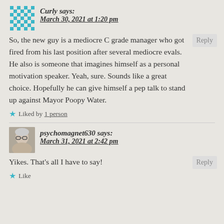Curly says:
March 30, 2021 at 1:20 pm
So, the new guy is a mediocre C grade manager who got fired from his last position after several mediocre evals. He also is someone that imagines himself as a personal motivation speaker. Yeah, sure. Sounds like a great choice. Hopefully he can give himself a pep talk to stand up against Mayor Poopy Water.
Liked by 1 person
psychomagnet630 says:
March 31, 2021 at 2:42 pm
Yikes. That's all I have to say!
Like